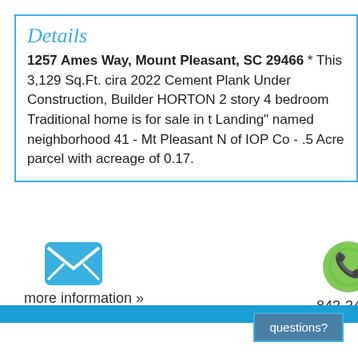Details
1257 Ames Way, Mount Pleasant, SC 29466 * This 3,129 Sq.Ft. cira 2022 Cement Plank Under Construction, Builder HORTON 2 story 4 bedroom Traditional home is for sale in the Landing" named neighborhood 41 - Mt Pleasant N of IOP Co - .5 Acre parcel with acreage of 0.17.
[Figure (illustration): Blue envelope/email icon]
more information »
[Figure (illustration): Green phone/call icon]
843-345-
[Figure (other): Blue horizontal bar]
questions?